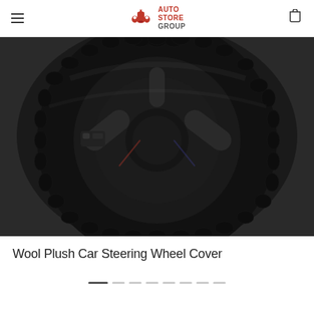Auto Store Group
[Figure (photo): Black wool plush car steering wheel cover viewed from front, showing fluffy black textured material around the wheel rim with car interior dashboard visible in center]
Wool Plush Car Steering Wheel Cover
[Figure (infographic): Carousel pagination dots — one active dark dot and seven lighter inactive dots indicating image slideshow position]